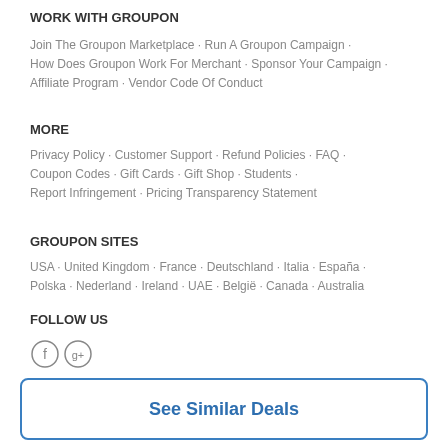WORK WITH GROUPON
Join The Groupon Marketplace · Run A Groupon Campaign · How Does Groupon Work For Merchant · Sponsor Your Campaign · Affiliate Program · Vendor Code Of Conduct
MORE
Privacy Policy · Customer Support · Refund Policies · FAQ · Coupon Codes · Gift Cards · Gift Shop · Students · Report Infringement · Pricing Transparency Statement
GROUPON SITES
USA · United Kingdom · France · Deutschland · Italia · España · Polska · Nederland · Ireland · UAE · België · Canada · Australia
FOLLOW US
[Figure (illustration): Social media icon circles (Facebook, Google+)]
See Similar Deals